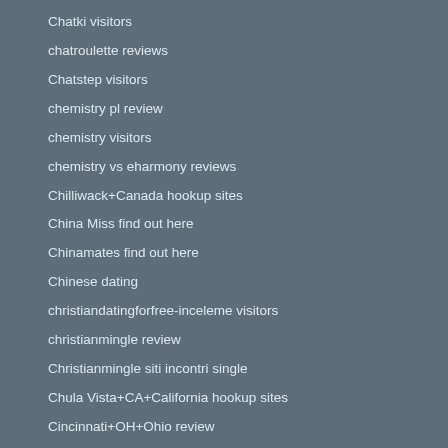Chatki visitors
chatroulette reviews
Chatstep visitors
chemistry pl review
chemistry visitors
chemistry vs eharmony reviews
Chilliwack+Canada hookup sites
China Miss find out here
Chinamates find out here
Chinese dating
christiandatingforfree-inceleme visitors
christianmingle review
Christianmingle siti incontri single
Chula Vista+CA+California hookup sites
Cincinnati+OH+Ohio review
citas en el pais gratuitas
citas para discapacitados gratuitas